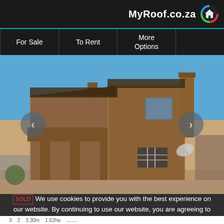MyRoof.co.za
For Sale
To Rent
More Options
[Figure (photo): Exterior photo of a brick farm/smallholding house with covered porch, two-storey section, chimney, under a clear blue sky. Navigation arrows on left and right sides of image.]
Farm/Smallholding in Glen Austin AW: MB61303
SOLD
We use cookies to provide you with the best experience on our website. By continuing to use our website, you are agreeing to the use of cookies.
3   2   3.30m   1.62ha
........